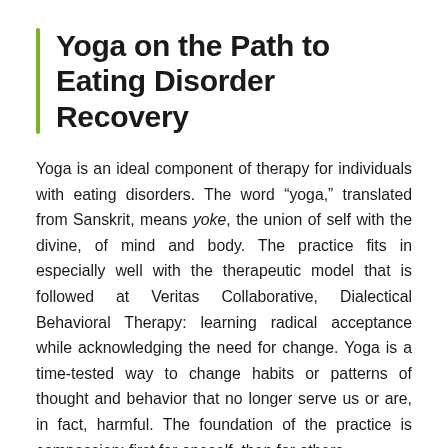Yoga on the Path to Eating Disorder Recovery
Yoga is an ideal component of therapy for individuals with eating disorders. The word “yoga,” translated from Sanskrit, means yoke, the union of self with the divine, of mind and body. The practice fits in especially well with the therapeutic model that is followed at Veritas Collaborative, Dialectical Behavioral Therapy: learning radical acceptance while acknowledging the need for change. Yoga is a time-tested way to change habits or patterns of thought and behavior that no longer serve us or are, in fact, harmful. The foundation of the practice is compassion: first for oneself, then for others.
Yoga, broadly speaking, is about paying attention and stilling the mind. It’s about being fully present in any given moment while also being able to pause